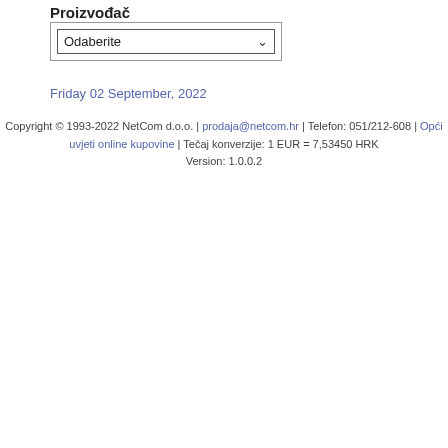Proizvođač
Odaberite
Friday 02 September, 2022
Copyright © 1993-2022 NetCom d.o.o. | prodaja@netcom.hr | Telefon: 051/212-608 | Opći uvjeti online kupovine | Tečaj konverzije: 1 EUR = 7,53450 HRK Version: 1.0.0.2